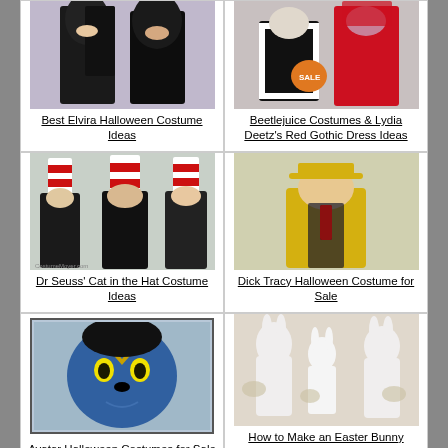[Figure (photo): Two women in Elvira-style black gowns with tall wigs]
Best Elvira Halloween Costume Ideas
[Figure (photo): Beetlejuice in striped suit and Lydia Deetz in red gothic dress with SALE tag]
Beetlejuice Costumes & Lydia Deetz's Red Gothic Dress Ideas
[Figure (photo): Three people in Dr. Seuss Cat in the Hat costumes with tall red and white striped hats]
Dr Seuss' Cat in the Hat Costume Ideas
[Figure (photo): Man in yellow Dick Tracy costume with yellow hat and suit]
Dick Tracy Halloween Costume for Sale
[Figure (photo): Avatar character face with blue skin and Na'vi markings]
Avatar Halloween Costumes for Sale
[Figure (photo): Family in white Easter Bunny costumes holding Easter baskets]
How to Make an Easter Bunny